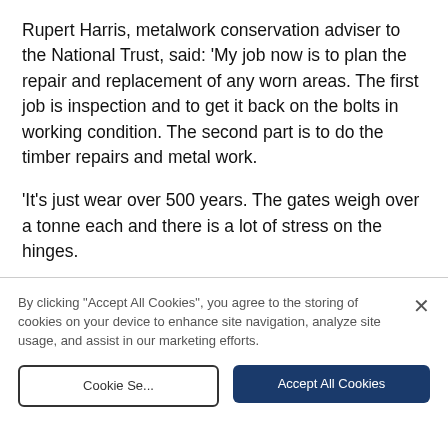Rupert Harris, metalwork conservation adviser to the National Trust, said: 'My job now is to plan the repair and replacement of any worn areas. The first job is inspection and to get it back on the bolts in working condition. The second part is to do the timber repairs and metal work.
'It's just wear over 500 years. The gates weigh over a tonne each and there is a lot of stress on the hinges.
'It's quite a rare job because obviously gates like this just don't exist. They tend to be replaced because the timber work has rotted.
By clicking "Accept All Cookies", you agree to the storing of cookies on your device to enhance site navigation, analyze site usage, and assist in our marketing efforts.